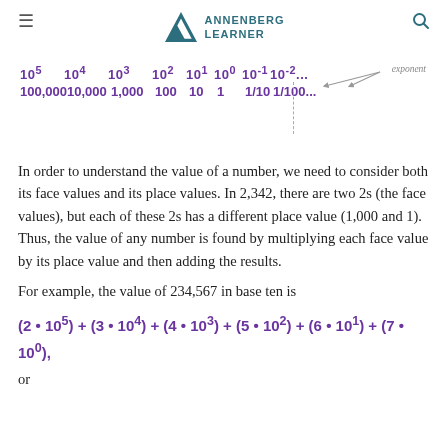Annenberg Learner
[Figure (infographic): Powers of 10 diagram showing 10^5 through 10^-2 with corresponding values 100,000 through 1/100, with a dotted vertical line separating positive and negative exponents, and an arrow labeled 'exponent' pointing to the superscript.]
In order to understand the value of a number, we need to consider both its face values and its place values. In 2,342, there are two 2s (the face values), but each of these 2s has a different place value (1,000 and 1). Thus, the value of any number is found by multiplying each face value by its place value and then adding the results.
For example, the value of 234,567 in base ten is
or